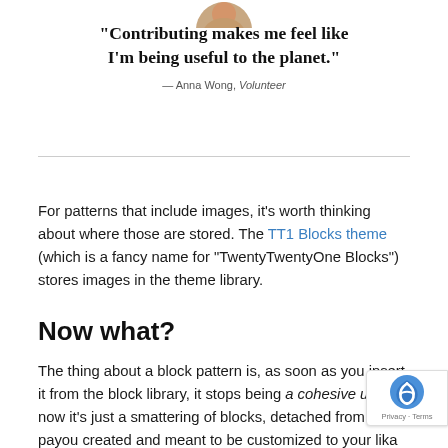[Figure (photo): Partial view of a person's face/photo at the top of the page, cropped]
“Contributing makes me feel like I’m being useful to the planet.”
— Anna Wong, Volunteer
For patterns that include images, it’s worth thinking about where those are stored. The TT1 Blocks theme (which is a fancy name for “TwentyTwentyOne Blocks”) stores images in the theme library.
Now what?
The thing about a block pattern is, as soon as you insert it from the block library, it stops being a cohesive unit — now it’s just a smattering of blocks, detached from the pa... you created and meant to be customized to your lik... a shortcut, not a template. That also means you don’t have